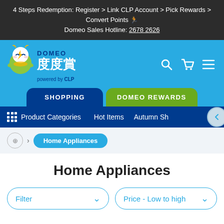4 Steps Redemption: Register > Link CLP Account > Pick Rewards > Convert Points
Domeo Sales Hotline: 2678 2626
[Figure (screenshot): Domeo 度度賞 website header with logo (green mascot robot character), Chinese and English brand name, powered by CLP, search, cart and menu icons, SHOPPING and DOMEO REWARDS navigation tabs, Product Categories sub-navigation bar, Home Appliances breadcrumb, Home Appliances page title, and Filter / Price Low to High dropdown buttons]
Home Appliances